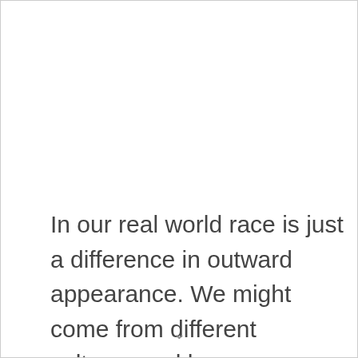In our real world race is just a difference in outward appearance. We might come from different cultures and have